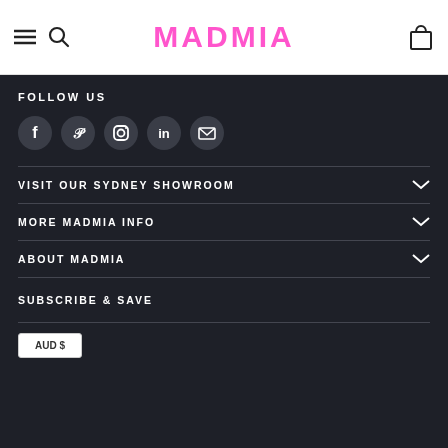MADMIA — website header with hamburger menu, search icon, logo, and cart icon
FOLLOW US
[Figure (infographic): Row of 5 social media icon circles: Facebook, Pinterest, Instagram, LinkedIn, Email]
VISIT OUR SYDNEY SHOWROOM
MORE MADMIA INFO
ABOUT MADMIA
SUBSCRIBE & SAVE